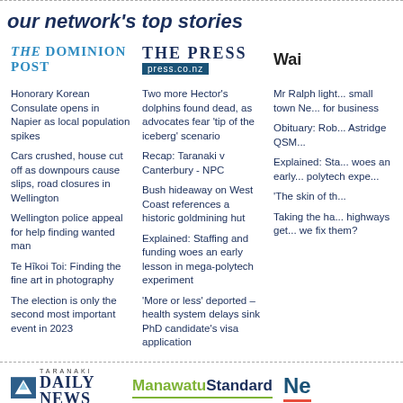our network's top stories
[Figure (logo): The Dominion Post newspaper logo]
[Figure (logo): The Press newspaper logo with press.co.nz URL]
[Figure (logo): Wai... (partially visible) newspaper logo]
Honorary Korean Consulate opens in Napier as local population spikes
Cars crushed, house cut off as downpours cause slips, road closures in Wellington
Wellington police appeal for help finding wanted man
Te Hīkoi Toi: Finding the fine art in photography
The election is only the second most important event in 2023
Two more Hector's dolphins found dead, as advocates fear 'tip of the iceberg' scenario
Recap: Taranaki v Canterbury - NPC
Bush hideaway on West Coast references a historic goldmining hut
Explained: Staffing and funding woes an early lesson in mega-polytech experiment
'More or less' deported – health system delays sink PhD candidate's visa application
Mr Ralph light... small town Ne... for business
Obituary: Rob... Astridge QSM...
Explained: Sta... woes an early... polytech expe...
'The skin of th...
Taking the ha... highways get... we fix them?
[Figure (logo): Taranaki Daily News newspaper logo]
[Figure (logo): Manawatu Standard newspaper logo]
[Figure (logo): Nel... (partially visible) newspaper logo]
'It's quite heart-warming': Family continues tradition of beach cleanup, following storm
Obituary: Robin Bertram (Snow) Astridge QSM, 1943-2022
UCOL photography students win big at Iris Awards
Murderous opening week sapped Manawatū Turbos
Volunteers he... mud from dri...
Two more Hec... dead, as advo... iceberg' sce...